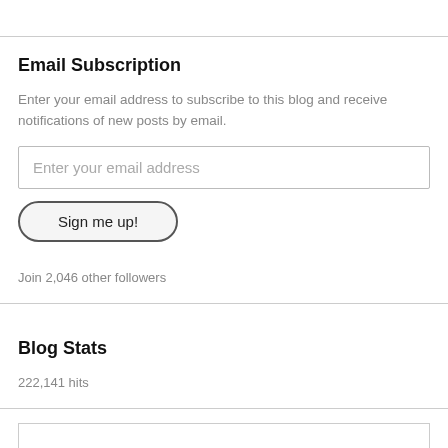Email Subscription
Enter your email address to subscribe to this blog and receive notifications of new posts by email.
Enter your email address
Sign me up!
Join 2,046 other followers
Blog Stats
222,141 hits